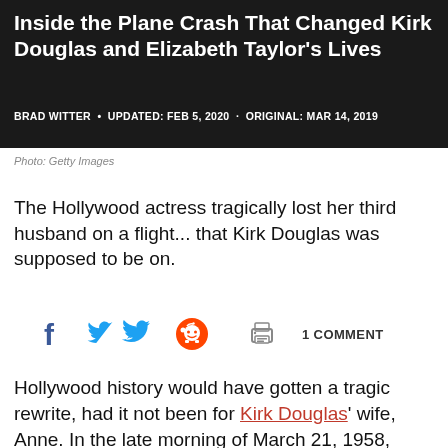Inside the Plane Crash That Changed Kirk Douglas and Elizabeth Taylor's Lives
BRAD WITTER · UPDATED: FEB 5, 2020 · ORIGINAL: MAR 14, 2019
Photo: Getty Images
The Hollywood actress tragically lost her third husband on a flight... that Kirk Douglas was supposed to be on.
1 COMMENT
Hollywood history would have gotten a tragic rewrite, had it not been for Kirk Douglas' wife, Anne. In the late morning of March 21, 1958, Elizabeth Taylor's third husband, award-winning